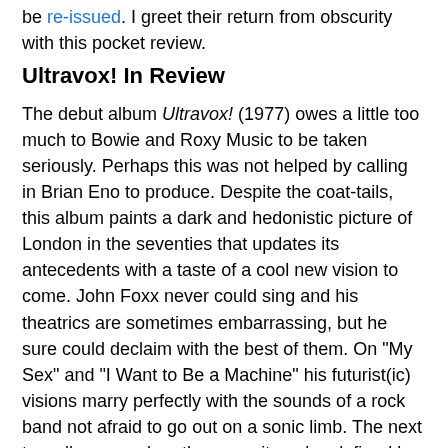be re-issued. I greet their return from obscurity with this pocket review.
Ultravox! In Review
The debut album Ultravox! (1977) owes a little too much to Bowie and Roxy Music to be taken seriously. Perhaps this was not helped by calling in Brian Eno to produce. Despite the coat-tails, this album paints a dark and hedonistic picture of London in the seventies that updates its antecedents with a taste of a cool new vision to come. John Foxx never could sing and his theatrics are sometimes embarrassing, but he sure could declaim with the best of them. On "My Sex" and "I Want to Be a Machine" his futurist(ic) visions marry perfectly with the sounds of a rock band not afraid to go out on a sonic limb. The next two albums explore the opposite poles defined by this debut with vigour and determination.
Ha! Ha! Ha! (1977) is broken and jagged, full of crazed apocalyptic rock like "Fear in the Western World", which ends with the sound of society tearing itself in twain. This cuts to drifting piano, is one of the most startling and